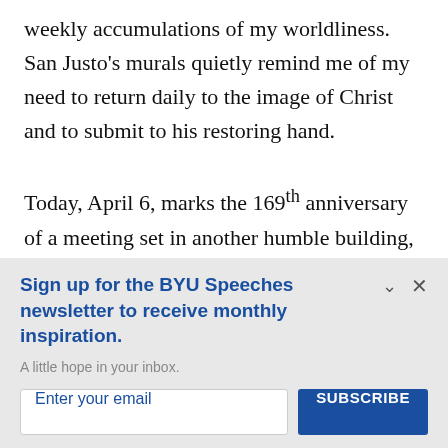weekly accumulations of my worldliness. San Justo's murals quietly remind me of my need to return daily to the image of Christ and to submit to his restoring hand.
Today, April 6, marks the 169th anniversary of a meeting set in another humble building, a log farmhouse in Fayette, New York. During
Sign up for the BYU Speeches newsletter to receive monthly inspiration.
A little hope in your inbox.
Enter your email
SUBSCRIBE